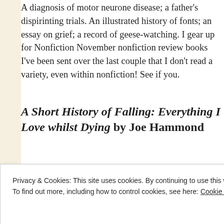A diagnosis of motor neurone disease; a father's dispiriting trials. An illustrated history of fonts; an essay on grief; a record of geese-watching. I gear up for Nonfiction November nonfiction review books I've been sent over the last couple that I don't read a variety, even within nonfiction! See if you.
A Short History of Falling: Everything I Love whilst Dying by Joe Hammond
Privacy & Cookies: This site uses cookies. By continuing to use this website, you agree to their use.
To find out more, including how to control cookies, see here: Cookie Policy